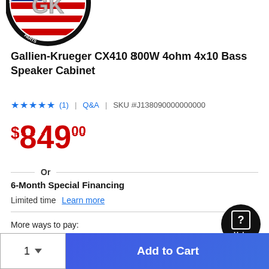[Figure (logo): Circular logo badge with American flag and 'GK' letters, text reading 'WITH DOMESTIC AND IMPORTED PARTS' around the edge]
Gallien-Krueger CX410 800W 4ohm 4x10 Bass Speaker Cabinet
★★★★★ (1) | Q&A | SKU #J138090000000000
$849.00
Or
6-Month Special Financing
Limited time  Learn more
More ways to pay:
1   Add to Cart